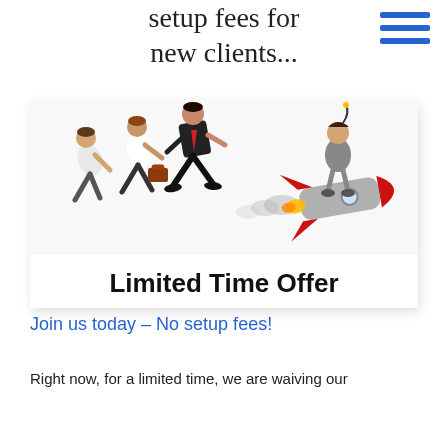setup fees for new clients...
[Figure (illustration): People running left to right chasing a rocket, with a man riding the rocket. Box contains the text 'Limited Time Offer' at the bottom in bold black. Background is white/light gray.]
Limited Time Offer
Join us today – No setup fees!
Right now, for a limited time, we are waiving our